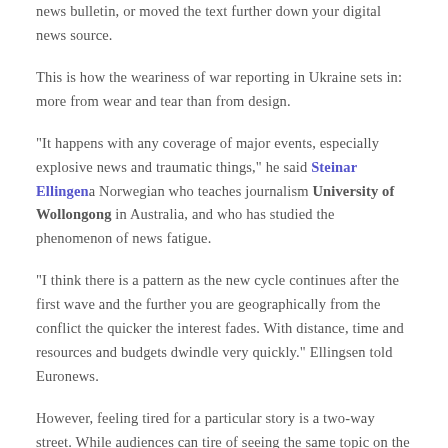news bulletin, or moved the text further down your digital news source.
This is how the weariness of war reporting in Ukraine sets in: more from wear and tear than from design.
"It happens with any coverage of major events, especially explosive news and traumatic things," he said Steinar Ellingen a Norwegian who teaches journalism University of Wollongong in Australia, and who has studied the phenomenon of news fatigue.
"I think there is a pattern as the new cycle continues after the first wave and the further you are geographically from the conflict the quicker the interest fades. With distance, time and resources and budgets dwindle very quickly." Ellingsen told Euronews.
However, feeling tired for a particular story is a two-way street. While audiences can tire of seeing the same topic on the nightly news night after night, or seeing it on the front page of their newspaper every day,